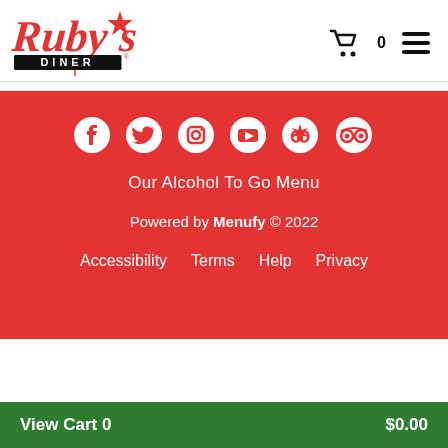[Figure (logo): Ruby's Diner logo in red cursive script with star, black DINER bar below]
[Figure (infographic): Shopping cart icon with 0 count and hamburger menu icon in header]
[Figure (infographic): Social media icons row: Facebook, Twitter, Instagram, YouTube, Yelp, TripAdvisor on red background]
Our Alcohol To Go Menu
Powered by Menufy © 2022
Accessibility   Terms   Help   Privacy
View Cart 0   $0.00